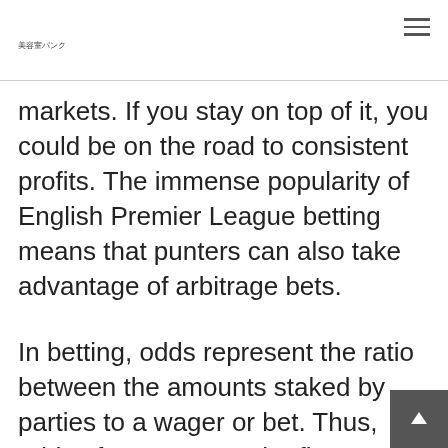美容室バンク
markets. If you stay on top of it, you could be on the road to consistent profits. The immense popularity of English Premier League betting means that punters can also take advantage of arbitrage bets.
In betting, odds represent the ratio between the amounts staked by parties to a wager or bet. Thus, odds of 3 to 1 mean the first party stakes three times the amount staked by the second party . There are many reasons to bet on spor